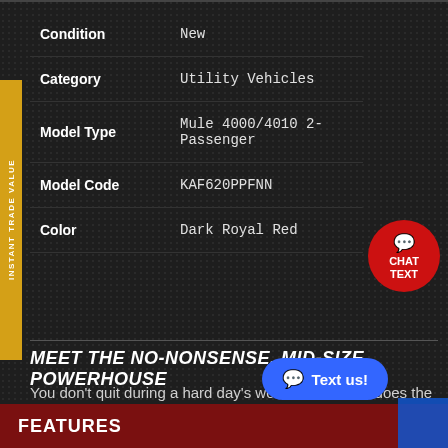| Field | Value |
| --- | --- |
| Condition | New |
| Category | Utility Vehicles |
| Model Type | Mule 4000/4010 2-Passenger |
| Model Code | KAF620PPFNN |
| Color | Dark Royal Red |
MEET THE NO-NONSENSE, MID-SIZE POWERHOUSE
You don't quit during a hard day's work, and neither does the Kawasaki MULE™ 4000. These mid-size, high capacity, two-passenger vehicles have the muscle and endurance for a full day's work, plus the towing and cargo capacity to take the heavy load off your shoulders.
FEATURES